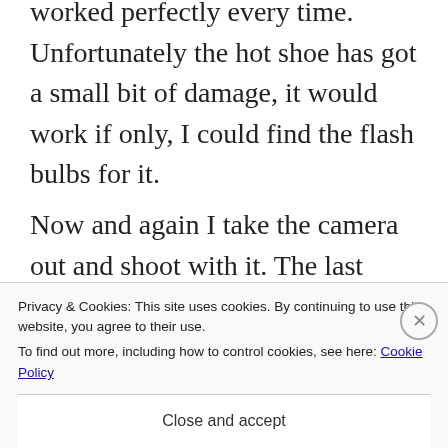worked perfectly every time. Unfortunately the hot shoe has got a small bit of damage, it would work if only, I could find the flash bulbs for it.
Now and again I take the camera out and shoot with it. The last time was a few months back. I find it very useful in the photographic club, when I want to explain the basics of the camera and photography.
It is amazing how quick that the member...
Privacy & Cookies: This site uses cookies. By continuing to use this website, you agree to their use.
To find out more, including how to control cookies, see here: Cookie Policy
Close and accept